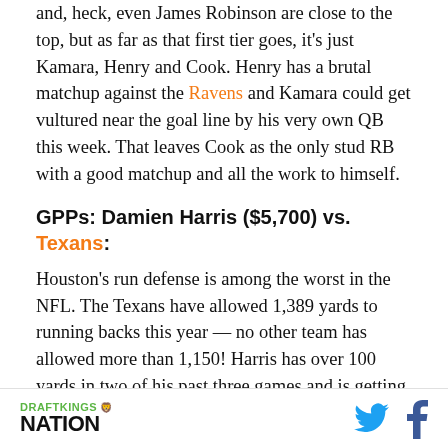and, heck, even James Robinson are close to the top, but as far as that first tier goes, it's just Kamara, Henry and Cook. Henry has a brutal matchup against the Ravens and Kamara could get vultured near the goal line by his very own QB this week. That leaves Cook as the only stud RB with a good matchup and all the work to himself.
GPPs: Damien Harris ($5,700) vs. Texans:
Houston's run defense is among the worst in the NFL. The Texans have allowed 1,389 yards to running backs this year — no other team has allowed more than 1,150! Harris has over 100 yards in two of his past three games and is getting plenty of touches in the
DRAFTKINGS NATION